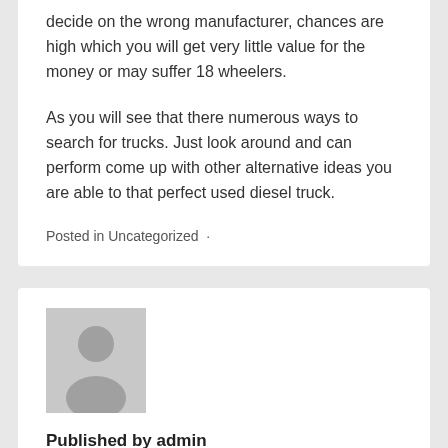decide on the wrong manufacturer, chances are high which you will get very little value for the money or may suffer 18 wheelers.
As you will see that there numerous ways to search for trucks. Just look around and can perform come up with other alternative ideas you are able to that perfect used diesel truck.
Posted in Uncategorized ·
[Figure (photo): Generic user avatar placeholder image — grey silhouette of a person on a light grey background]
Published by admin